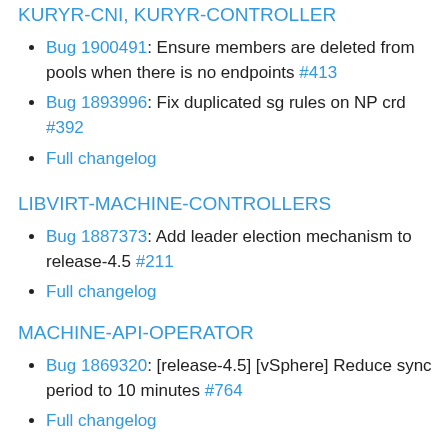KURYR-CNI, KURYR-CONTROLLER
Bug 1900491: Ensure members are deleted from pools when there is no endpoints #413
Bug 1893996: Fix duplicated sg rules on NP crd #392
Full changelog
LIBVIRT-MACHINE-CONTROLLERS
Bug 1887373: Add leader election mechanism to release-4.5 #211
Full changelog
MACHINE-API-OPERATOR
Bug 1869320: [release-4.5] [vSphere] Reduce sync period to 10 minutes #764
Full changelog